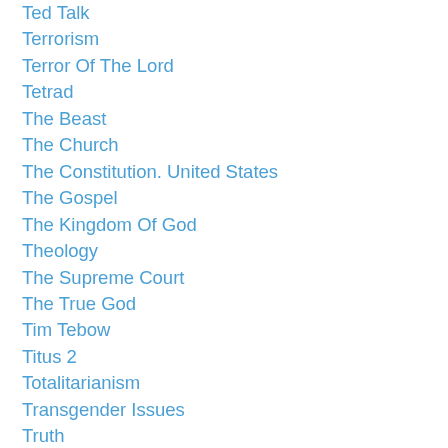Ted Talk
Terrorism
Terror Of The Lord
Tetrad
The Beast
The Church
The Constitution. United States
The Gospel
The Kingdom Of God
Theology
The Supreme Court
The True God
Tim Tebow
Titus 2
Totalitarianism
Transgender Issues
Truth
Tunguska
Understanding
Ungodly Leaderrship
United States